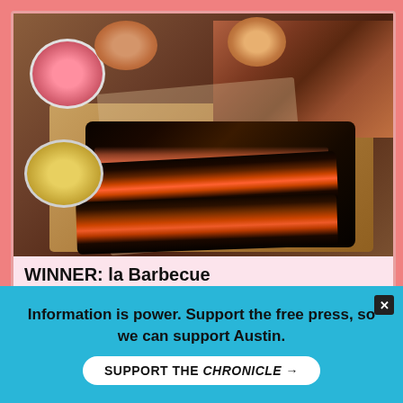[Figure (photo): Overhead photo of BBQ spread: brisket slices with dark crust and pink interior on a wooden tray, chopped meat, bread rolls, pink pickled onions in a cup, yellow pickles in a cup]
WINNER: la Barbecue
2401 E. Cesar Chavez, labarbecue.com
LeAnn Mueller (yes, of that Mueller barbecue dynasty) and her wife, Ali,
Information is power. Support the free press, so we can support Austin.
SUPPORT THE CHRONICLE →